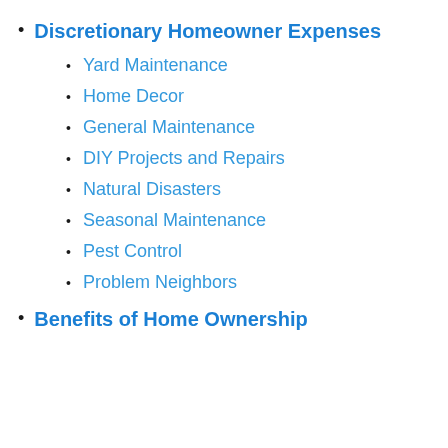Discretionary Homeowner Expenses
Yard Maintenance
Home Decor
General Maintenance
DIY Projects and Repairs
Natural Disasters
Seasonal Maintenance
Pest Control
Problem Neighbors
Benefits of Home Ownership